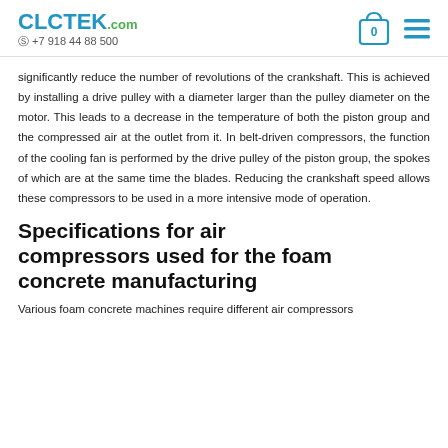CLCTEK.com +7 918 44 88 500
significantly reduce the number of revolutions of the crankshaft. This is achieved by installing a drive pulley with a diameter larger than the pulley diameter on the motor. This leads to a decrease in the temperature of both the piston group and the compressed air at the outlet from it. In belt-driven compressors, the function of the cooling fan is performed by the drive pulley of the piston group, the spokes of which are at the same time the blades. Reducing the crankshaft speed allows these compressors to be used in a more intensive mode of operation.
Specifications for air compressors used for the foam concrete manufacturing
Various foam concrete machines require different air compressors